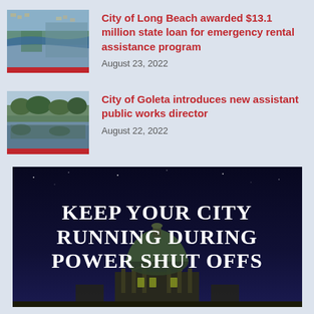[Figure (photo): Aerial view of Long Beach city with river and residential areas]
City of Long Beach awarded $13.1 million state loan for emergency rental assistance program
August 23, 2022
[Figure (photo): Landscape photo of lake or river with trees reflecting on water]
City of Goleta introduces new assistant public works director
August 22, 2022
[Figure (infographic): Dark blue promotional banner with city hall dome at night. Text: KEEP YOUR CITY RUNNING DURING POWER SHUT OFFS]